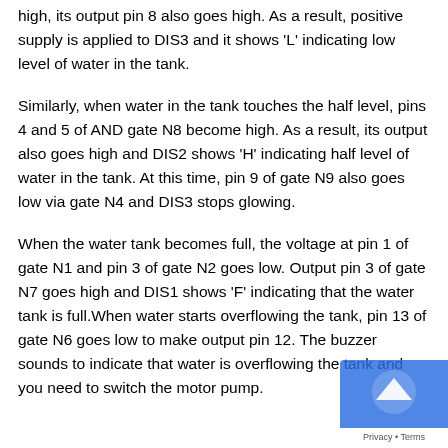high, its output pin 8 also goes high. As a result, positive supply is applied to DIS3 and it shows 'L' indicating low level of water in the tank.
Similarly, when water in the tank touches the half level, pins 4 and 5 of AND gate N8 become high. As a result, its output also goes high and DIS2 shows 'H' indicating half level of water in the tank. At this time, pin 9 of gate N9 also goes low via gate N4 and DIS3 stops glowing.
When the water tank becomes full, the voltage at pin 1 of gate N1 and pin 3 of gate N2 goes low. Output pin 3 of gate N7 goes high and DIS1 shows 'F' indicating that the water tank is full.When water starts overflowing the tank, pin 13 of gate N6 goes low to make output pin 12. The buzzer sounds to indicate that water is overflowing the tank and you need to switch the motor pump.